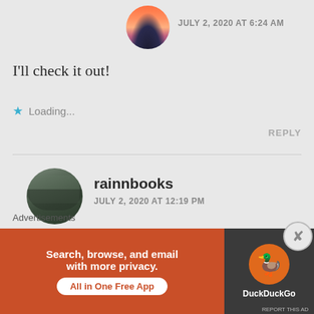[Figure (photo): Circular avatar with a sunset/dusk landscape photo showing a silhouette against pink and purple sky]
JULY 2, 2020 AT 6:24 AM
I'll check it out!
★ Loading...
REPLY
[Figure (photo): Circular avatar showing a rainy window or wet surface with a dark, greenish-grey tone]
rainnbooks
JULY 2, 2020 AT 12:19 PM
👍
Advertisements
[Figure (other): DuckDuckGo advertisement banner: red/orange left section with text 'Search, browse, and email with more privacy. All in One Free App', and dark right section with DuckDuckGo duck logo circle and DuckDuckGo text]